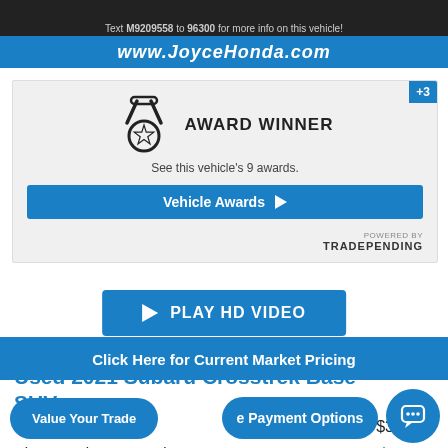[Figure (screenshot): JoyceHonda website banner with text 'Text M9209558 to 96300 for more info on this vehicle!' and blue bar with www.JoyceHonda.com]
[Figure (infographic): Award Winner box with medal icon, '+3' badge, text 'AWARD WINNER', 'See this vehicle's 9 awards.', blue 'Vehicle Awards' button, and 'POWERED BY TRADEPENDING' footer]
[Figure (screenshot): Blue 'PLAY HD VIDEO' button with play triangle icon]
Used 2021 Subaru Crosstrek Base SUV
List Price: $31,495
Discounted Internet Price: $28,495
Click Here for Current Market Pricing
Value Your Trade
e Payment Options